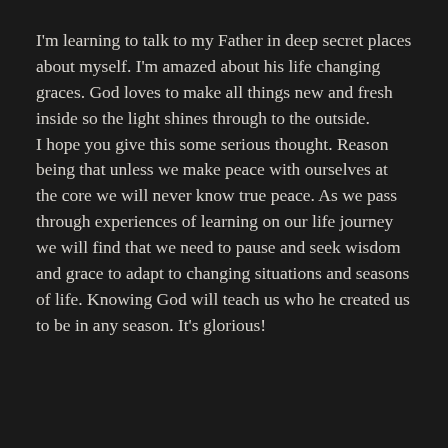I'm learning to talk to my Father in deep secret places about myself. I'm amazed about his life changing graces. God loves to make all things new and fresh inside so the light shines through to the outside.
I hope you give this some serious thought. Reason being that unless we make peace with ourselves at the core we will never know true peace. As we pass through experiences of learning on our life journey we will find that we need to pause and seek wisdom and grace to adapt to changing situations and seasons of life. Knowing God will teach us who he created us to be in any season. It's glorious!